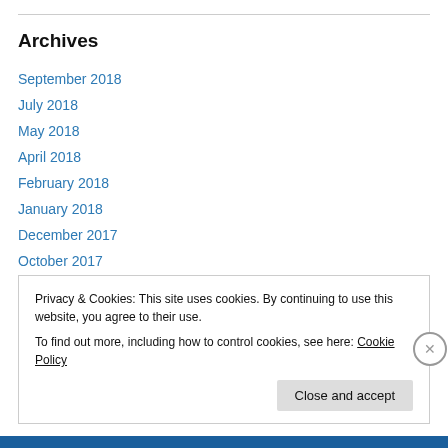Archives
September 2018
July 2018
May 2018
April 2018
February 2018
January 2018
December 2017
October 2017
August 2017
July 2017
Privacy & Cookies: This site uses cookies. By continuing to use this website, you agree to their use.
To find out more, including how to control cookies, see here: Cookie Policy
Close and accept